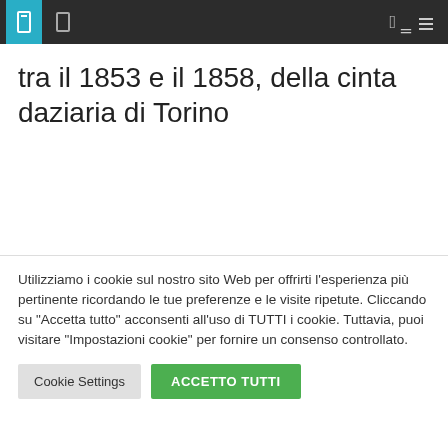navigation bar with icons
tra il 1853 e il 1858, della cinta daziaria di Torino
Utilizziamo i cookie sul nostro sito Web per offrirti l'esperienza più pertinente ricordando le tue preferenze e le visite ripetute. Cliccando su "Accetta tutto" acconsenti all'uso di TUTTI i cookie. Tuttavia, puoi visitare "Impostazioni cookie" per fornire un consenso controllato.
Cookie Settings | ACCETTO TUTTI